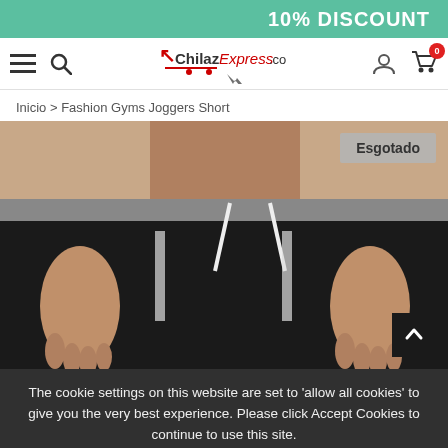10% DISCOUNT
[Figure (screenshot): ChilazExpress.com website navbar with hamburger menu, search icon, logo, user icon, and cart with 0 items]
Inicio > Fashion Gyms Joggers Short
[Figure (photo): Man wearing black fashion gym joggers shorts with gray waistband and white drawstring. Badge: Esgotado (Sold Out). Scroll-to-top button visible.]
The cookie settings on this website are set to 'allow all cookies' to give you the very best experience. Please click Accept Cookies to continue to use this site.
PRIVACY POLICY   ACCEPT ✔